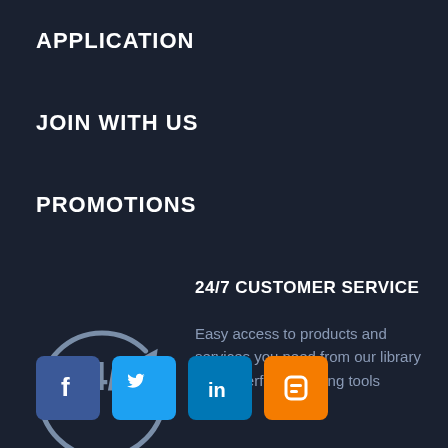APPLICATION
JOIN WITH US
PROMOTIONS
24/7 CUSTOMER SERVICE
Easy access to products and services you need from our library via powerful searching tools
[Figure (illustration): 24/7 circular arrow icon in grey on dark background]
[Figure (illustration): Social media icons: Facebook (blue), Twitter (blue), LinkedIn (blue), Blogger (orange)]